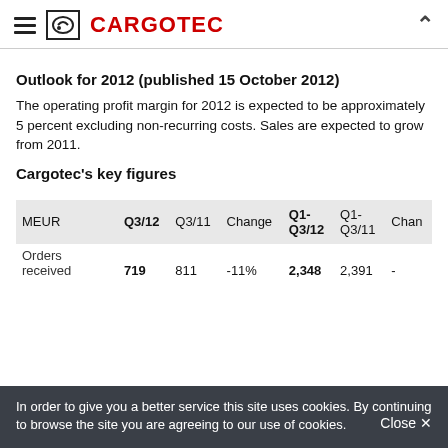CARGOTEC
Outlook for 2012 (published 15 October 2012)
The operating profit margin for 2012 is expected to be approximately 5 percent excluding non-recurring costs. Sales are expected to grow from 2011.
Cargotec's key figures
| MEUR | Q3/12 | Q3/11 | Change | Q1-Q3/12 | Q1-Q3/11 | Change |
| --- | --- | --- | --- | --- | --- | --- |
| Orders received | 719 | 811 | -11% | 2,348 | 2,391 | - |
In order to give you a better service this site uses cookies. By continuing to browse the site you are agreeing to our use of cookies.